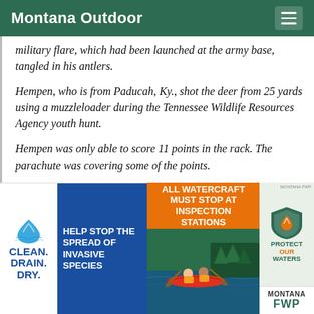Montana Outdoor
military flare, which had been launched at the army base, tangled in his antlers.
Hempen, who is from Paducah, Ky., shot the deer from 25 yards using a muzzleloader during the Tennessee Wildlife Resources Agency youth hunt.
Hempen was only able to score 11 points in the rack. The parachute was covering some of the points.
Hempen decided not to remove the parachute and is having the head and rack mounted with it still in place.
“I think it just builds character on the hunt,” Hempen said. “The parachute was one of the
[Figure (infographic): Advertisement banner: Clean. Drain. Dry. Help stop the spread of invasive species / All watercraft must stop at inspection stations / Photo of kayakers / Protect Our Waters - Montana FWP logo]